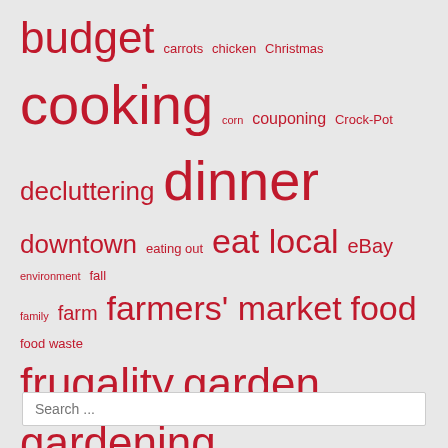[Figure (infographic): Tag cloud with words in various sizes in red/crimson color on a light grey background. Words include budget, carrots, chicken, Christmas, cooking, corn, couponing, Crock-Pot, decluttering, dinner, downtown, eating out, eat local, eBay, environment, fall, family, farm, farmers' market, food, food waste, frugality, garden, gardening, garlic, gifts, Goodwill, green, groceries, herbs, Hillacres Pride, holidays, homemade, houses, humane, in season, kids, kids' clothes, kids' entertainment, laundry, lettuce, meals, money, nonconsumerism, onions, online yard sale, organic, potatoes, pumpkins, recipes, redecorating, renovation, school, seeds, shopping, ShopRite, simple life, spring, strawberries, summer, Target, the Compact, thrifting, tomatoes, vacation, Wegmans, Whole Foods, winter]
Search ...